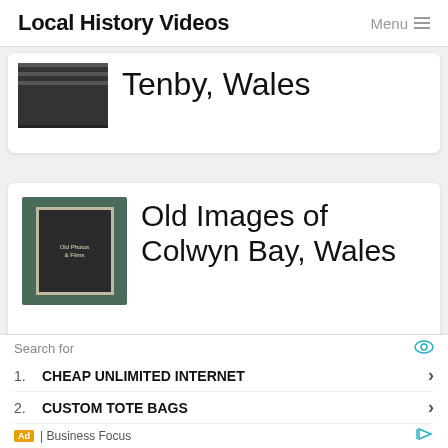Local History Videos  Menu
[Figure (screenshot): Partially visible thumbnail for Tenby, Wales video]
Tenby, Wales
[Figure (photo): Thumbnail showing book cover 'Old Photos & Films' with dark teal background]
Old Images of Colwyn Bay, Wales
Search for
1. CHEAP UNLIMITED INTERNET ›
2. CUSTOM TOTE BAGS ›
Ad | Business Focus